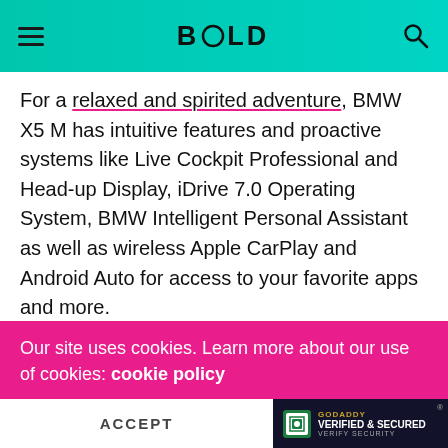BOLD
For a relaxed and spirited adventure, BMW X5 M has intuitive features and proactive systems like Live Cockpit Professional and Head-up Display, iDrive 7.0 Operating System, BMW Intelligent Personal Assistant as well as wireless Apple CarPlay and Android Auto for access to your favorite apps and more.
[Figure (screenshot): Embedded tweet from @bmwindia (BMW India, verified account) with Twitter bird icon. Tweet text: 'Experience the sheer pleasure of being powerful with the all-new #BMW X5 M' with Follow link.]
Our site uses cookies. Learn more about our use of cookies: cookie policy
ACCEPT